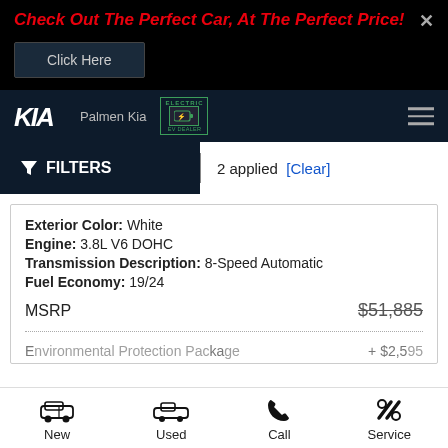Check Out The Perfect Car, At The Perfect Price!
Click Here
[Figure (logo): KIA logo with Palmen Kia dealer name and EV charging badge]
FILTERS  2 applied  [Clear]
Exterior Color: White
Engine: 3.8L V6 DOHC
Transmission Description: 8-Speed Automatic
Fuel Economy: 19/24
| Item | Price |
| --- | --- |
| MSRP | $51,885 |
| Environmental Protection Package | + $2,595 |
[Figure (infographic): Bottom navigation bar with New, Used, Call, Service icons]